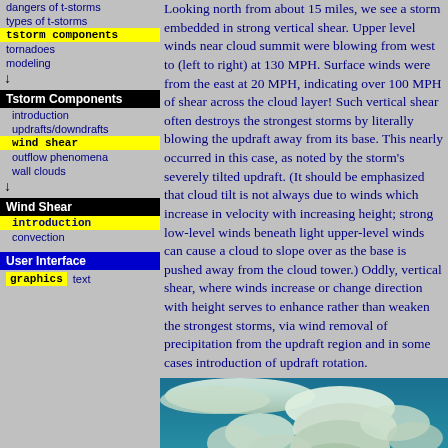dangers of t-storms
types of t-storms
tstorm components (highlighted)
tornadoes
modeling
Tstorm Components
introduction
updrafts/downdrafts
wind shear (highlighted)
outflow phenomena
wall clouds
Wind Shear
introduction
convection
User Interface
graphics (highlighted)   text
Looking north from about 15 miles, we see a s... embedded in strong vertical shear. Upper level winds near cloud summit were blowing from west to (left to right) at 130 MPH. Surface winds were from the east at 20 MPH, indicating over 100 MPH of shear across the cloud layer! Such vertical shear often destroys the strongest storms by literally blowing the updraft away from its base. This nearly occurred in this case, as noted by the storm's severely tilted updraft. (It should be emphasized that cloud tilt is not always due to winds which increase in velocity with increasing height; strong low-level winds beneath light upper-level winds can cause a cloud to slope over as the base is pushed away from the cloud tower.) Oddly, vertical shear, where winds increase or change direction with height serves to enhance rather than weaken the strongest storms, via wind removal of precipitation from the updraft region and in some cases introduction of updraft rotation.
[Figure (photo): Photograph of a large thunderstorm cloud (cumulonimbus) with a tilted updraft, viewed from ground level against a blue sky with mountains at the base.]